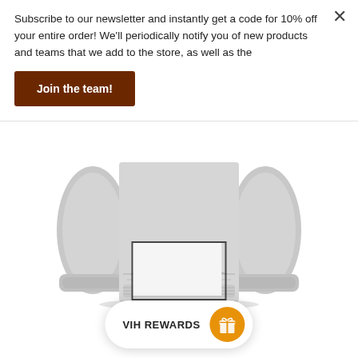Subscribe to our newsletter and instantly get a code for 10% off your entire order! We'll periodically notify you of new products and teams that we add to the store, as well as the
Join the team!
[Figure (photo): Back view of a grey heather crewneck sweatshirt showing sleeves and bottom hem]
[Figure (other): Carousel navigation dots: three dots, middle one gold/active]
[Figure (other): Partial product thumbnail image at bottom]
VIH REWARDS